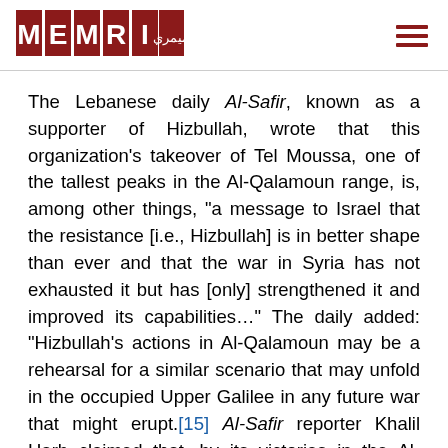MEMRI logo and navigation
The Lebanese daily Al-Safir, known as a supporter of Hizbullah, wrote that this organization's takeover of Tel Moussa, one of the tallest peaks in the Al-Qalamoun range, is, among other things, "a message to Israel that the resistance [i.e., Hizbullah] is in better shape than ever and that the war in Syria has not exhausted it but has [only] strengthened it and improved its capabilities…" The daily added: "Hizbullah's actions in Al-Qalamoun may be a rehearsal for a similar scenario that may unfold in the occupied Upper Galilee in any future war that might erupt.[15] Al-Safir reporter Khalil Harb claimed that, by its victories in the Al-Qalamoun, Al-Qusayr and